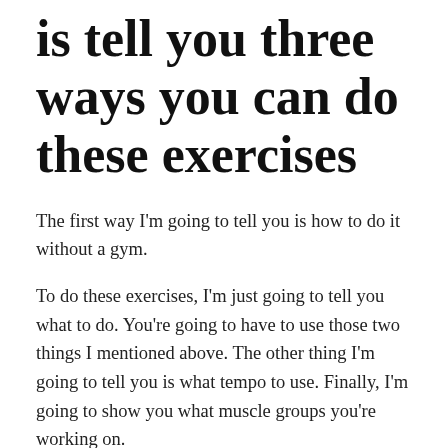What I'm going to do is tell you three ways you can do these exercises
The first way I'm going to tell you is how to do it without a gym.
To do these exercises, I'm just going to tell you what to do. You're going to have to use those two things I mentioned above. The other thing I'm going to tell you is what tempo to use. Finally, I'm going to show you what muscle groups you're working on.
First thing you do. Do an aerobic session. I'm telling you what to do. How to do it is really up to you. But one thing you have to remember is that you need to feel an exercise to